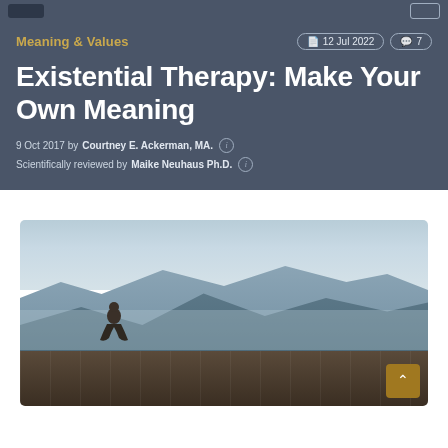Meaning & Values
12 Jul 2022  7
Existential Therapy: Make Your Own Meaning
9 Oct 2017 by Courtney E. Ackerman, MA.
Scientifically reviewed by Maike Neuhaus Ph.D.
[Figure (photo): Person sitting on a stone wall looking out at a mountainous misty landscape with layered peaks and cloudy sky]